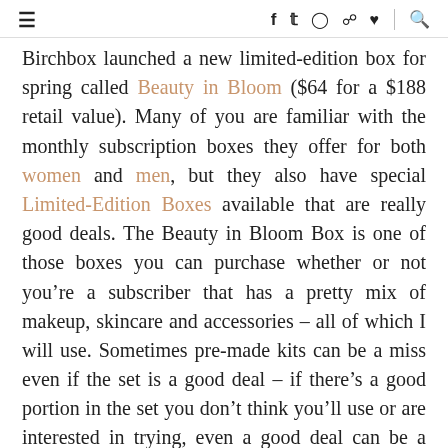≡  f  𝕥  ○  ◎  ♥  🔍
Birchbox launched a new limited-edition box for spring called Beauty in Bloom ($64 for a $188 retail value). Many of you are familiar with the monthly subscription boxes they offer for both women and men, but they also have special Limited-Edition Boxes available that are really good deals. The Beauty in Bloom Box is one of those boxes you can purchase whether or not you're a subscriber that has a pretty mix of makeup, skincare and accessories – all of which I will use. Sometimes pre-made kits can be a miss even if the set is a good deal – if there's a good portion in the set you don't think you'll use or are interested in trying, even a good deal can be a waste. This one is